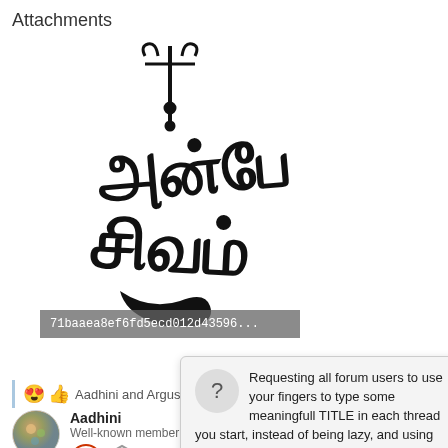Attachments
[Figure (illustration): Tamil calligraphic script artwork in black on white background, showing Tamil characters styled decoratively with a trident symbol on top.]
71baaea8ef6fd5ecd012d43596...
😍 👍 Aadhini and Argus
[Figure (screenshot): Tooltip popup with question mark icon and close button (×) saying: Requesting all forum users to use your fingers to type some meaningfull TITLE in each thread you start, instead of being lazy, and using EMOJI as title, Add a proper title name. If you can't add propper title to any thread you start, do not ever start any thread.]
Aadhini
Well-known member